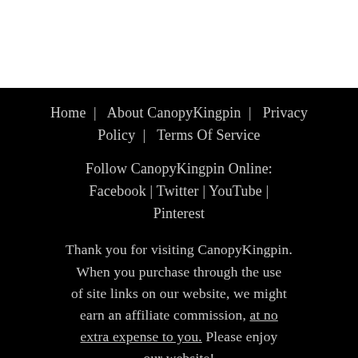Home | About CanopyKingpin | Privacy Policy | Terms Of Service
Follow CanopyKingpin Online: Facebook | Twitter | YouTube | Pinterest
Thank you for visiting CanopyKingpin. When you purchase through the use of site links on our website, we might earn an affiliate commission, at no extra expense to you. Please enjoy our website!
Copyright © by Canopy Kingpin.